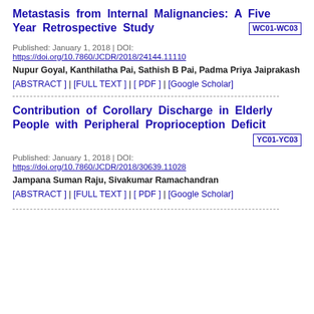Metastasis from Internal Malignancies: A Five Year Retrospective Study WC01-WC03
Published: January 1, 2018 | DOI: https://doi.org/10.7860/JCDR/2018/24144.11110
Nupur Goyal, Kanthilatha Pai, Sathish B Pai, Padma Priya Jaiprakash
[ABSTRACT ] | [FULL TEXT ] | [ PDF ] | [Google Scholar]
Contribution of Corollary Discharge in Elderly People with Peripheral Proprioception Deficit YC01-YC03
Published: January 1, 2018 | DOI: https://doi.org/10.7860/JCDR/2018/30639.11028
Jampana Suman Raju, Sivakumar Ramachandran
[ABSTRACT ] | [FULL TEXT ] | [ PDF ] | [Google Scholar]